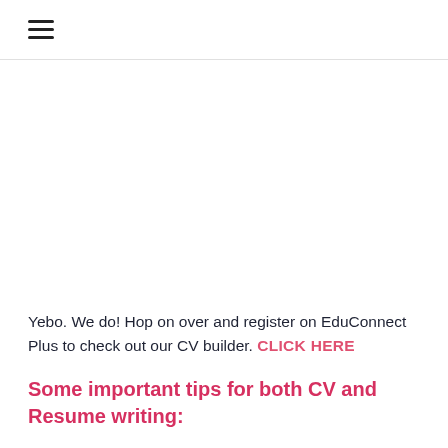≡
Yebo. We do! Hop on over and register on EduConnect Plus to check out our CV builder. CLICK HERE
Some important tips for both CV and Resume writing: